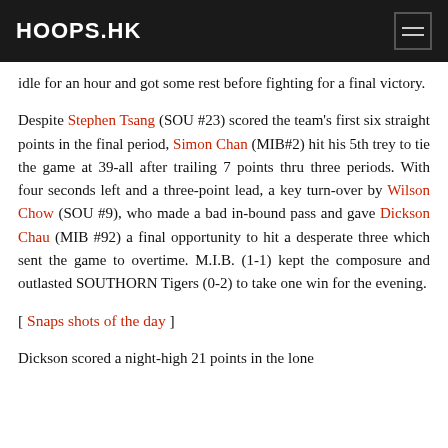HOOPS.HK
idle for an hour and got some rest before fighting for a final victory.
Despite Stephen Tsang (SOU #23) scored the team's first six straight points in the final period, Simon Chan (MIB#2) hit his 5th trey to tie the game at 39-all after trailing 7 points thru three periods. With four seconds left and a three-point lead, a key turn-over by Wilson Chow (SOU #9), who made a bad in-bound pass and gave Dickson Chau (MIB #92) a final opportunity to hit a desperate three which sent the game to overtime. M.I.B. (1-1) kept the composure and outlasted SOUTHORN Tigers (0-2) to take one win for the evening.
[ Snaps shots of the day ]
Dickson scored a night-high 21 points in the lone